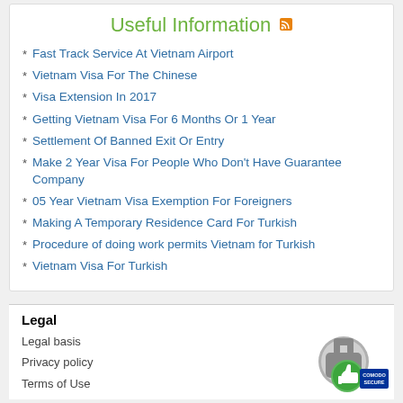Useful Information
Fast Track Service At Vietnam Airport
Vietnam Visa For The Chinese
Visa Extension In 2017
Getting Vietnam Visa For 6 Months Or 1 Year
Settlement Of Banned Exit Or Entry
Make 2 Year Visa For People Who Don't Have Guarantee Company
05 Year Vietnam Visa Exemption For Foreigners
Making A Temporary Residence Card For Turkish
Procedure of doing work permits Vietnam for Turkish
Vietnam Visa For Turkish
Legal
Legal basis
Privacy policy
Terms of Use
[Figure (logo): Comodo Secure badge with thumbs up icon]